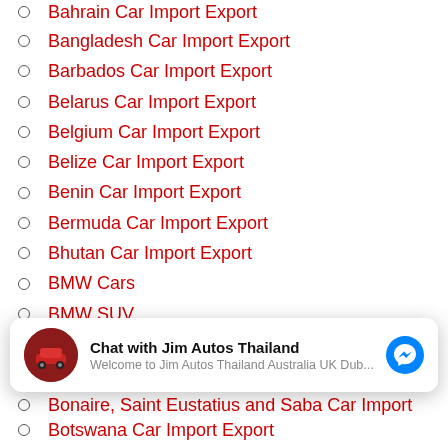Bahrain Car Import Export
Bangladesh Car Import Export
Barbados Car Import Export
Belarus Car Import Export
Belgium Car Import Export
Belize Car Import Export
Benin Car Import Export
Bermuda Car Import Export
Bhutan Car Import Export
BMW Cars
BMW SUV
BMW Vehicles
Bolivia Car Import Export
Bonaire, Saint Eustatius and Saba Car Import
Chat with Jim Autos Thailand — Welcome to Jim Autos Thailand Australia UK Dub...
Botswana Car Import Export